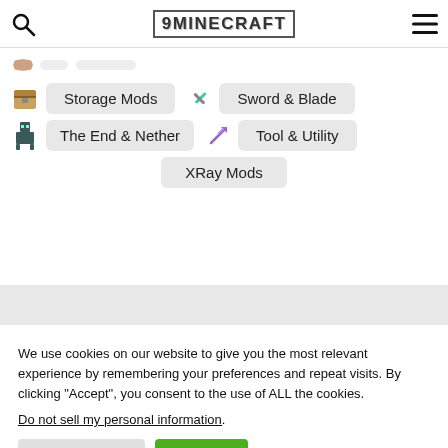9MINECRAFT
Storage Mods
Sword & Blade
The End & Nether
Tool & Utility
XRay Mods
We use cookies on our website to give you the most relevant experience by remembering your preferences and repeat visits. By clicking “Accept”, you consent to the use of ALL the cookies. Do not sell my personal information.